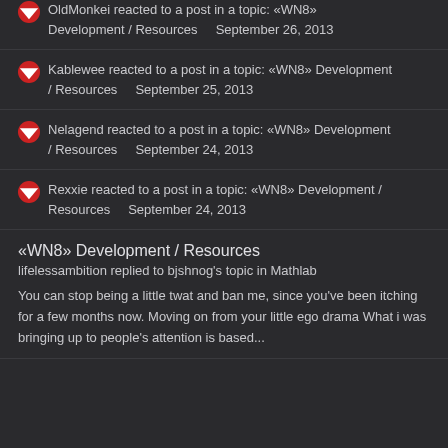OldMonkei reacted to a post in a topic: «WN8» Development / Resources   September 26, 2013
Kablewee reacted to a post in a topic: «WN8» Development / Resources   September 25, 2013
Nelagend reacted to a post in a topic: «WN8» Development / Resources   September 24, 2013
Rexxie reacted to a post in a topic: «WN8» Development / Resources   September 24, 2013
«WN8» Development / Resources
lifelessambition replied to bjshnog's topic in Mathlab
You can stop being a little twat and ban me, since you've been itching for a few months now. Moving on from your little ego drama What i was bringing up to people's attention is based...